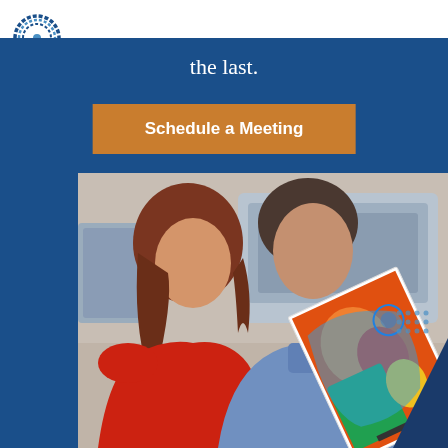the last.
Schedule a Meeting
[Figure (photo): Two people (a woman in red and a man in a blue shirt) looking at a large colorful printed sheet, pointing at it, in what appears to be a print shop environment with professional printing equipment in the background.]